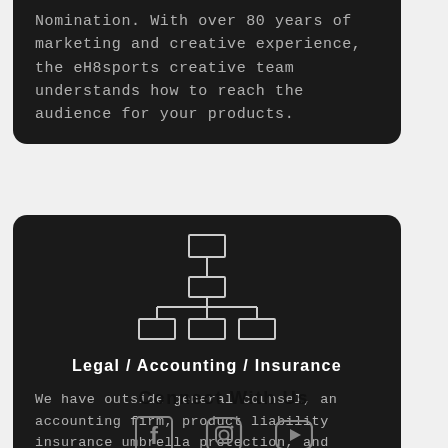Nomination. With over 80 years of marketing and creative experience, the eH8sports creative team understands how to reach the audience for your products.
[Figure (illustration): Organizational chart icon with connected rectangles in white outline on dark background]
Legal / Accounting / Insurance
We have outside general counsel, an accounting firm, product liability insurance umbrella protection, and experts in regulatory affairs and quality assurance.
Connect With Us
[Figure (illustration): Social media icons: Facebook, Instagram, YouTube]